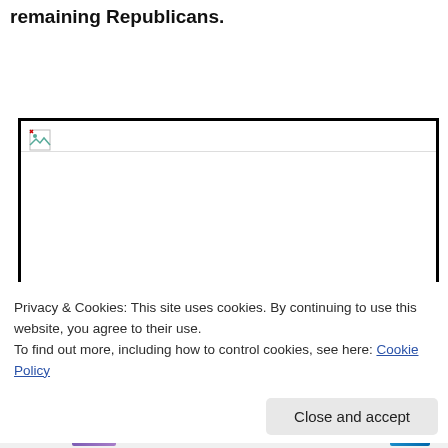remaining Republicans.
[Figure (photo): Broken/missing image placeholder with black border and small broken image icon in top-left corner]
Privacy & Cookies: This site uses cookies. By continuing to use this website, you agree to their use.
To find out more, including how to control cookies, see here: Cookie Policy
Close and accept